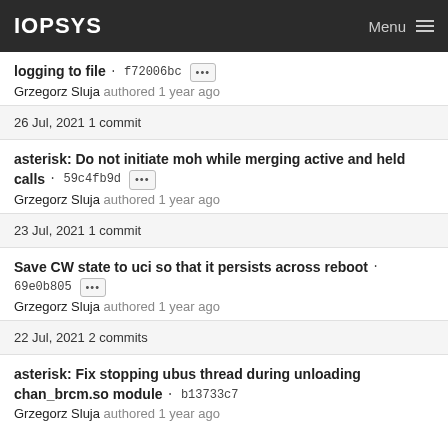IOPSYS  Menu
logging to file · f72006bc [...] Grzegorz Sluja authored 1 year ago
26 Jul, 2021 1 commit
asterisk: Do not initiate moh while merging active and held calls · 59c4fb9d [...] Grzegorz Sluja authored 1 year ago
23 Jul, 2021 1 commit
Save CW state to uci so that it persists across reboot · 69e0b805 [...] Grzegorz Sluja authored 1 year ago
22 Jul, 2021 2 commits
asterisk: Fix stopping ubus thread during unloading chan_brcm.so module · b13733c7 Grzegorz Sluja authored 1 year ago